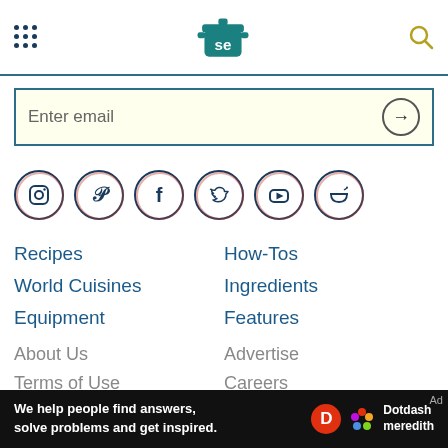[Figure (logo): Serious Eats logo — a teal pot with 'se' on it, navigation dots on left, gold search icon on right]
Enter email
[Figure (infographic): Social media icons in circles: Instagram, Pinterest, Facebook, Twitter, YouTube, and a bowl/SE icon]
Recipes
How-Tos
World Cuisines
Ingredients
Equipment
Features
About Us
Advertise
Terms of Use
Careers
Editorial Guidelines
Privacy Policy
We help people find answers, solve problems and get inspired.
[Figure (logo): Dotdash Meredith logo — red D circle and colorful flower icon with Dotdash meredith text]